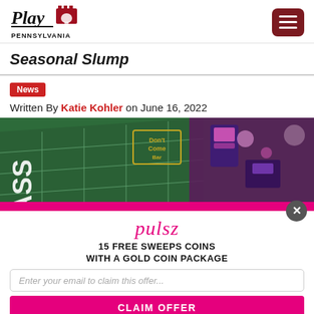Play Pennsylvania (logo) + hamburger menu
Seasonal Slump
News
Written By Katie Kohler on June 16, 2022
[Figure (photo): Casino craps table with green felt showing PASS and Don't Come labels, with colorful casino floor visible in background]
[Figure (infographic): Pulsz popup overlay: pulsz logo in pink, '15 FREE SWEEPS COINS WITH A GOLD COIN PACKAGE', email input field, CLAIM OFFER button in pink, close button]
pulsz
15 FREE SWEEPS COINS WITH A GOLD COIN PACKAGE
Enter your email to claim this offer...
CLAIM OFFER